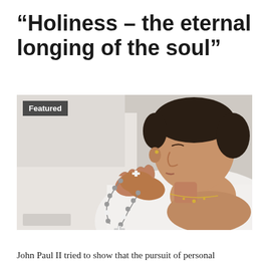“Holiness – the eternal longing of the soul”
[Figure (photo): A woman with eyes closed, hands clasped in prayer holding a rosary with a cross pendant, wearing a white garment. The image has a soft, light background. A 'Featured' badge is overlaid in the upper-left corner.]
John Paul II tried to show that the pursuit of personal